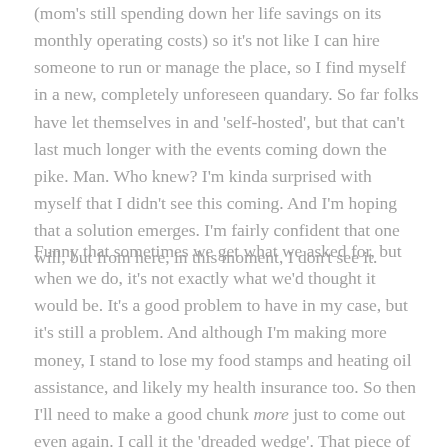(mom's still spending down her life savings on its monthly operating costs) so it's not like I can hire someone to run or manage the place, so I find myself in a new, completely unforeseen quandary. So far folks have let themselves in and 'self-hosted', but that can't last much longer with the events coming down the pike. Man. Who knew? I'm kinda surprised with myself that I didn't see this coming. And I'm hoping that a solution emerges. I'm fairly confident that one will, but from here, in this moment, I don't see it.
Funny that sometimes we get what we asked for, but when we do, it's not exactly what we'd thought it would be. It's a good problem to have in my case, but it's still a problem. And although I'm making more money, I stand to lose my food stamps and heating oil assistance, and likely my health insurance too. So then I'll need to make a good chunk more just to come out even again. I call it the 'dreaded wedge'. That piece of the pie one needs to